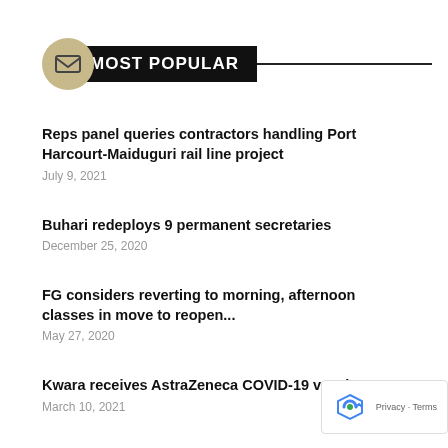MOST POPULAR
Reps panel queries contractors handling Port Harcourt-Maiduguri rail line project
Buhari redeploys 9 permanent secretaries
FG considers reverting to morning, afternoon classes in move to reopen...
Kwara receives AstraZeneca COVID-19 vaccines